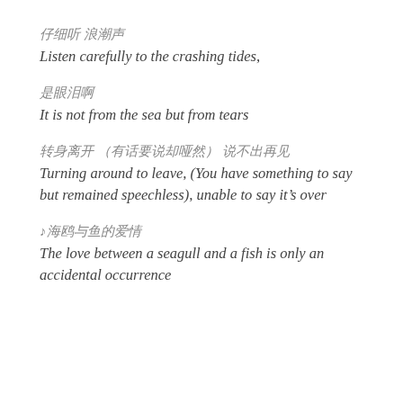仔细听 浪潮声
Listen carefully to the crashing tides,
是眼泪啊
It is not from the sea but from tears
转身离开 (有话要说却哑然) 说不出再见
Turning around to leave, (You have something to say but remained speechless), unable to say it's over
♩海鸥与鱼的爱情
The love between a seagull and a fish is only an accidental occurrence